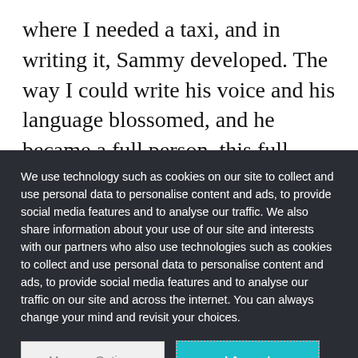where I needed a taxi, and in writing it, Sammy developed. The way I could write his voice and his language blossomed, and he became a full person, this full character. That's what I mean that he came to me. In putting a taxi driver into the scene, he gave me the opportunity to find a voice missing from the story. It expanded very
We use technology such as cookies on our site to collect and use personal data to personalise content and ads, to provide social media features and to analyse our traffic. We also share information about your use of our site and interests with our partners who also use technologies such as cookies to collect and use personal data to personalise content and ads, to provide social media features and to analyse our traffic on our site and across the internet. You can always change your mind and revisit your choices.